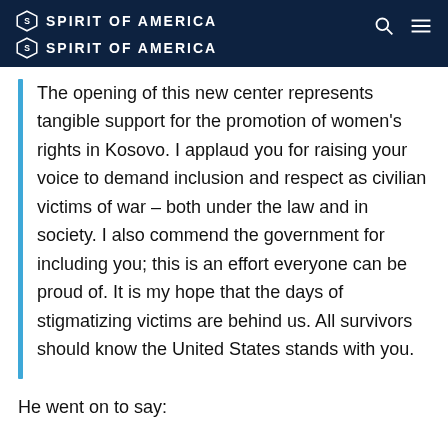SPIRIT OF AMERICA (x2 logo lines)
The opening of this new center represents tangible support for the promotion of women’s rights in Kosovo. I applaud you for raising your voice to demand inclusion and respect as civilian victims of war – both under the law and in society. I also commend the government for including you; this is an effort everyone can be proud of. It is my hope that the days of stigmatizing victims are behind us. All survivors should know the United States stands with you.
He went on to say: